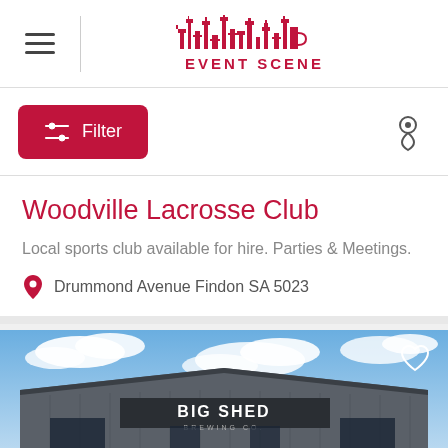EVENT SCENE
Filter
Woodville Lacrosse Club
Local sports club available for hire. Parties & Meetings.
Drummond Avenue Findon SA 5023
[Figure (photo): Exterior photo of Big Shed Brewing Co. building against a blue sky with clouds]